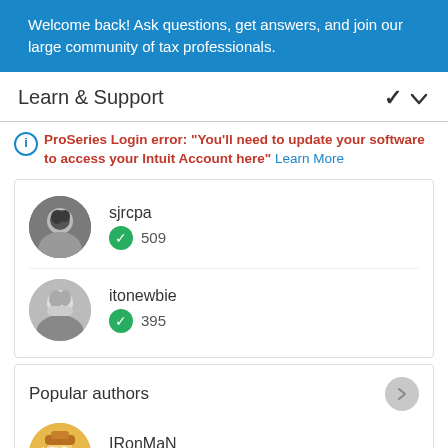Welcome back! Ask questions, get answers, and join our large community of tax professionals.
Learn & Support
ProSeries Login error: "You'll need to update your software to access your Intuit Account here" Learn More
sjrcpa
509
itonewbie
395
Popular authors
IRonMaN
16118